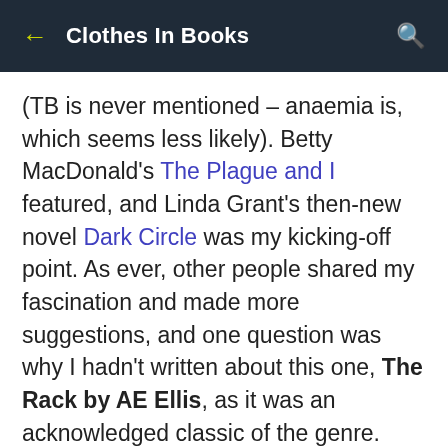Clothes In Books
(TB is never mentioned – anaemia is, which seems less likely). Betty MacDonald's The Plague and I featured, and Linda Grant's then-new novel Dark Circle was my kicking-off point. As ever, other people shared my fascination and made more suggestions, and one question was why I hadn't written about this one, The Rack by AE Ellis, as it was an acknowledged classic of the genre.

Naturally the answer was that I hadn't heard of it, and had been collecting the titles to date in my